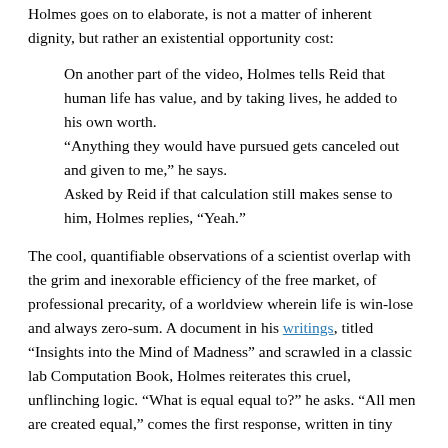Holmes goes on to elaborate, is not a matter of inherent dignity, but rather an existential opportunity cost:
On another part of the video, Holmes tells Reid that human life has value, and by taking lives, he added to his own worth.
“Anything they would have pursued gets canceled out and given to me,” he says.
Asked by Reid if that calculation still makes sense to him, Holmes replies, “Yeah.”
The cool, quantifiable observations of a scientist overlap with the grim and inexorable efficiency of the free market, of professional precarity, of a worldview wherein life is win-lose and always zero-sum. A document in his writings, titled “Insights into the Mind of Madness” and scrawled in a classic lab Computation Book, Holmes reiterates this cruel, unflinching logic. “What is equal equal to?” he asks. “All men are created equal,” comes the first response, written in tiny